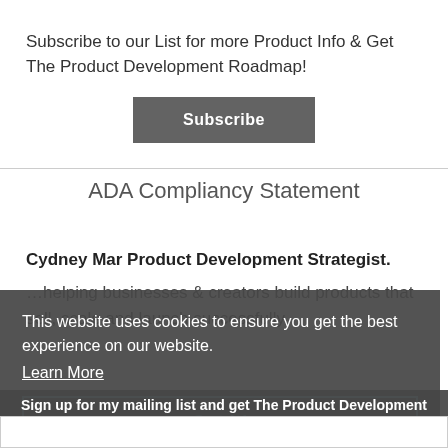Subscribe to our List for more Product Info & Get The Product Development Roadmap!
Subscribe
ADA Compliancy Statement
Cydney Mar Product Development Strategist.
This website uses cookies to ensure you get the best experience on our website.
Learn More
Got it!
Sign up for my mailing list and get The Product Development Roadmap!!